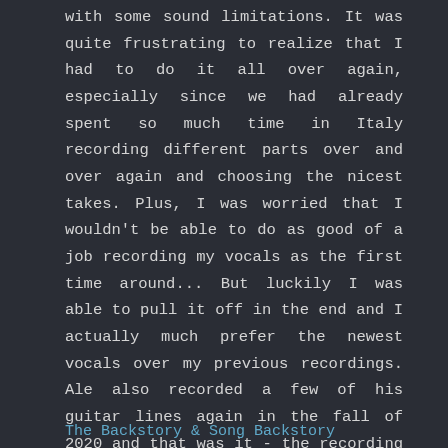with some sound limitations. It was quite frustrating to realize that I had to do it all over again, especially since we had already spent so much time in Italy recording different parts over and over again and choosing the nicest takes. Plus, I was worried that I wouldn't be able to do as good of a job recording my vocals as the first time around... But luckily I was able to pull it off in the end and I actually much prefer the newest vocals over my previous recordings. Ale also recorded a few of his guitar lines again in the fall of 2020 and that was it - the recording process was completed. Quite weird to think that the only live elements in the song are guitars and vocals. But hey, technology!
The Backstory & Song Backstory